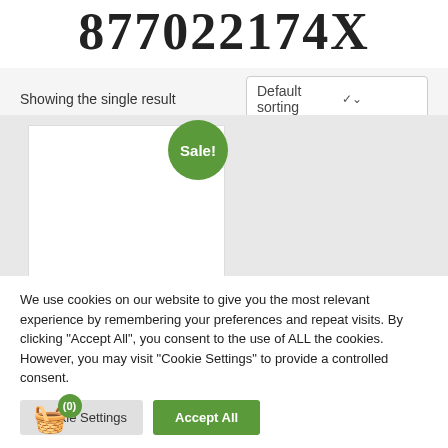877022174X
Showing the single result
Default sorting
[Figure (other): Product card with Sale! badge on grey background]
We use cookies on our website to give you the most relevant experience by remembering your preferences and repeat visits. By clicking "Accept All", you consent to the use of ALL the cookies. However, you may visit "Cookie Settings" to provide a controlled consent.
Cookie Settings
Accept All
(0)